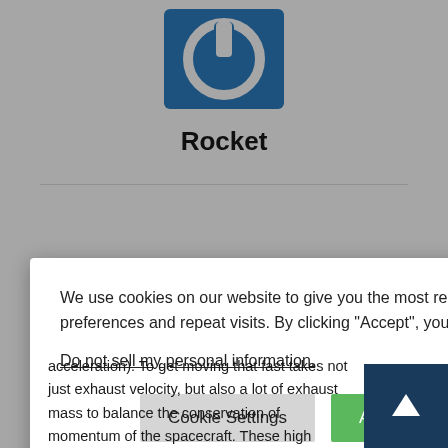[Figure (logo): Blue square logo with white power button icon]
Rocket
rovided — see
to 25,000
r hour)"
0 km/sec; not that of the speed of we'd go to Mars eleration/de-
We use cookies on our website to give you the most relevant experience by remembering your preferences and repeat visits. By clicking "Accept", you consent to the use of ALL the cookies.
Do not sell my personal information.
acceleration). To get moving that fast takes not just exhaust velocity, but also a lot of exhaust mass to balance the conservation of momentum of the spacecraft. These high